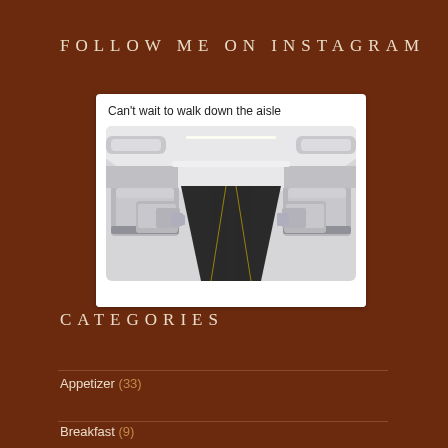FOLLOW ME ON INSTAGRAM
[Figure (screenshot): Instagram post showing interior of empty airplane cabin with text 'Can't wait to walk down the aisle']
CATEGORIES
Appetizer (33)
Breakfast (9)